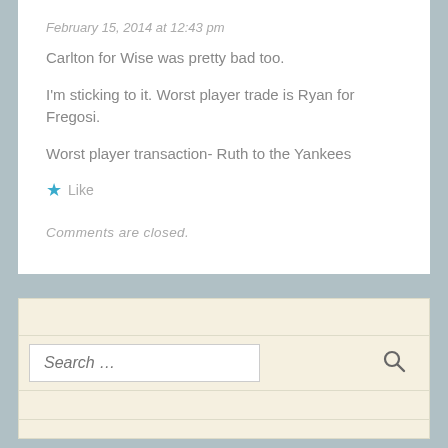February 15, 2014 at 12:43 pm
Carlton for Wise was pretty bad too.
I'm sticking to it. Worst player trade is Ryan for Fregosi.
Worst player transaction- Ruth to the Yankees
★ Like
Comments are closed.